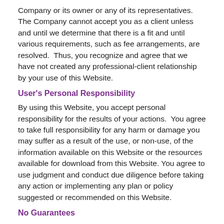Company or its owner or any of its representatives. The Company cannot accept you as a client unless and until we determine that there is a fit and until various requirements, such as fee arrangements, are resolved.  Thus, you recognize and agree that we have not created any professional-client relationship by your use of this Website.
User's Personal Responsibility
By using this Website, you accept personal responsibility for the results of your actions.  You agree to take full responsibility for any harm or damage you may suffer as a result of the use, or non-use, of the information available on this Website or the resources available for download from this Website. You agree to use judgment and conduct due diligence before taking any action or implementing any plan or policy suggested or recommended on this Website.
No Guarantees
You agree that the Company has not made any guarantees about the results of taking any action, whether recommended on this Website or not. The Company provides educational and informational resources that are intended to help users of this website succeed in business, writing, publishing, and otherwise. You nevertheless recognize that your ultimate success or failure will be the result of your own efforts, your particular situation, and innumerable other circumstances